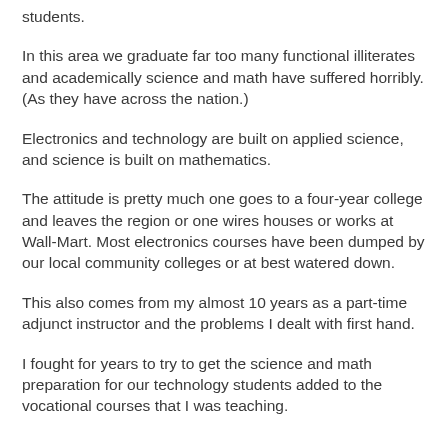students.
In this area we graduate far too many functional illiterates and academically science and math have suffered horribly. (As they have across the nation.)
Electronics and technology are built on applied science, and science is built on mathematics.
The attitude is pretty much one goes to a four-year college and leaves the region or one wires houses or works at Wall-Mart. Most electronics courses have been dumped by our local community colleges or at best watered down.
This also comes from my almost 10 years as a part-time adjunct instructor and the problems I dealt with first hand.
I fought for years to try to get the science and math preparation for our technology students added to the vocational courses that I was teaching.